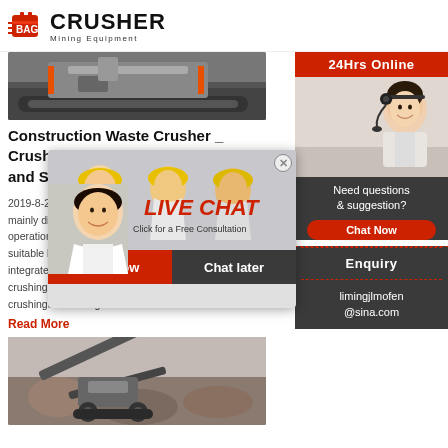[Figure (logo): Crusher Mining Equipment logo with red shopping bag icon and bold CRUSHER text]
[Figure (photo): Top view of a tracked crusher/mining machine on dark ground]
Construction Waste Crusher _ Crushing and Screening ...
2019-8-21 ... mainly direc... operation a... suitable bui... integrated c... crushing&screening station...and...type...crushing&screening station.
Read More
[Figure (photo): Mining/quarry scene with crushing and screening equipment machinery]
[Figure (screenshot): Live Chat popup overlay with workers in hard hats, LIVE CHAT text in red italic, Click for a Free Consultation subtitle, Chat now and Chat later buttons]
[Figure (photo): 24Hrs Online banner with female customer service agent wearing headset]
Need questions & suggestion?
Chat Now
Enquiry
limingjlmofen@sina.com